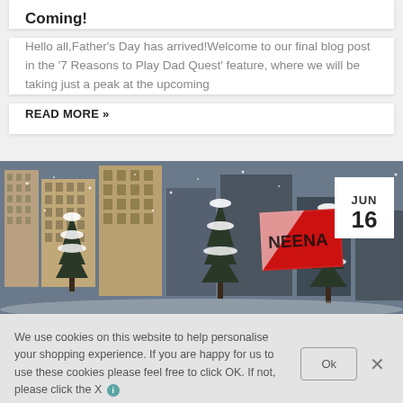Coming!
Hello all,Father's Day has arrived!Welcome to our final blog post in the '7 Reasons to Play Dad Quest' feature, where we will be taking just a peak at the upcoming
READ MORE »
[Figure (illustration): Game screenshot showing a snowy city scene with snow-covered pine trees, apartment buildings, and a billboard with 'NEENA' written on it. A date badge shows JUN 16.]
We use cookies on this website to help personalise your shopping experience. If you are happy for us to use these cookies please feel free to click OK. If not, please click the X